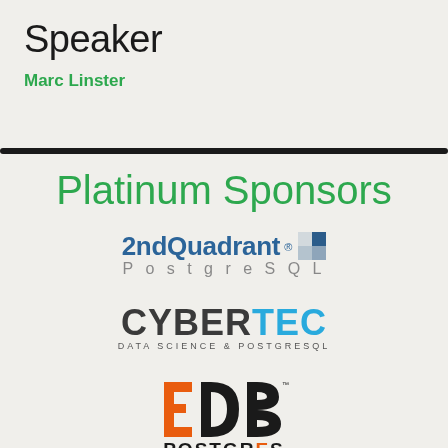Speaker
Marc Linster
Platinum Sponsors
[Figure (logo): 2ndQuadrant PostgreSQL logo with blue text and a blue square cross icon]
[Figure (logo): CYBERTEC Data Science & PostgreSQL logo with dark and blue lettering]
[Figure (logo): EDB Postgres logo with orange E, dark D and B letters, and POSTGRES text below]